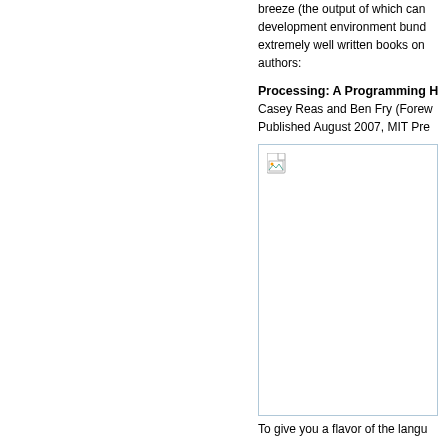breeze (the output of which can development environment bund extremely well written books on authors:
Processing: A Programming H
Casey Reas and Ben Fry (Fore Published August 2007, MIT Pre
[Figure (illustration): Book cover image placeholder with broken image icon]
To give you a flavor of the langu